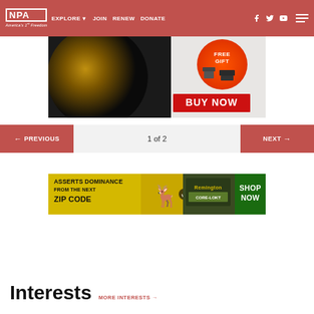NPA America's 1st Freedom — EXPLORE JOIN RENEW DONATE
[Figure (photo): Advertisement showing a rifle scope with 'BUY NOW' button and 'FREE GIFT' badge with scope mount accessory]
← PREVIOUS    1 of 2    NEXT →
[Figure (photo): Remington ammunition advertisement: 'ASSERTS DOMINANCE FROM THE NEXT ZIP CODE' with deer silhouette and 'SHOP NOW' button]
Interests
MORE INTERESTS →